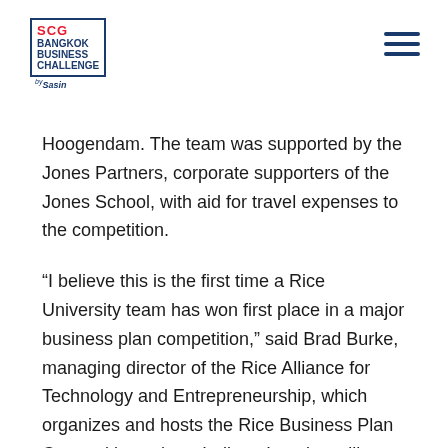SCG Bangkok Business Challenge by Sasin [logo] [hamburger menu]
Hoogendam. The team was supported by the Jones Partners, corporate supporters of the Jones School, with aid for travel expenses to the competition.
“I believe this is the first time a Rice University team has won first place in a major business plan competition,” said Brad Burke, managing director of the Rice Alliance for Technology and Entrepreneurship, which organizes and hosts the Rice Business Plan Competition, where Indirect Imaging will represent Rice in April. “They have been selected to compete in the WBT University Technology Commercialization Competition as